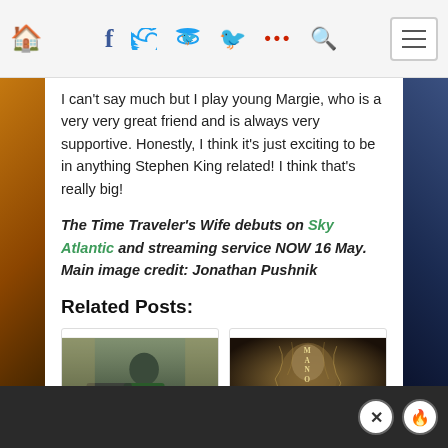Navigation bar with home, facebook, twitter, more, search icons and hamburger menu
I can't say much but I play young Margie, who is a very very great friend and is always very supportive. Honestly, I think it's just exciting to be in anything Stephen King related! I think that's really big!
The Time Traveler's Wife debuts on Sky Atlantic and streaming service NOW 16 May. Main image credit: Jonathan Pushnik
Related Posts:
[Figure (photo): Photo of a man in a green vest leaning over a surface, appears to be from The Boys TV show]
The Boys' Chace C
[Figure (photo): Dark sepia-toned movie poster with a ghostly face and the word MANOR spelled vertically]
Welcome To The